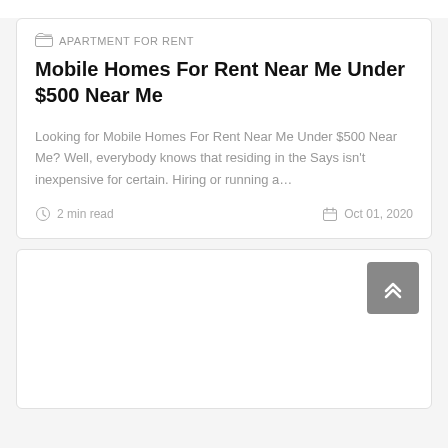APARTMENT FOR RENT
Mobile Homes For Rent Near Me Under $500 Near Me
Looking for Mobile Homes For Rent Near Me Under $500 Near Me? Well, everybody knows that residing in the Says isn't inexpensive for certain. Hiring or running a…
2 min read
Oct 01, 2020
[Figure (other): Second card placeholder with scroll-to-top button]